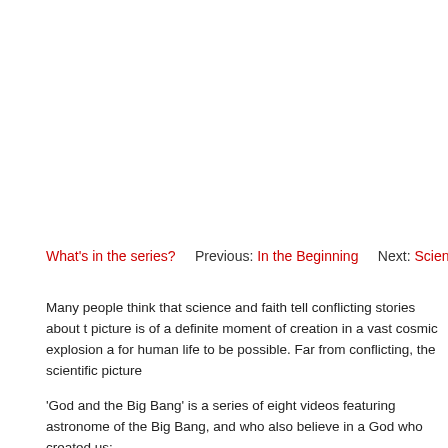What's in the series?    Previous: In the Beginning    Next: Science
Many people think that science and faith tell conflicting stories about the picture is of a definite moment of creation in a vast cosmic explosion for human life to be possible. Far from conflicting, the scientific picture
'God and the Big Bang' is a series of eight videos featuring astronomers of the Big Bang, and who also believe in a God who created us:
Dr. Peter Bussey is a particle physicist working on the search for the of Physics at Harvard University; Owen Gingerich is emeritus Profes University; Dr. Nick Saunders is a theologian and physicist who desi Collider; Dr. Aref... Senior Project Scientist at the H...